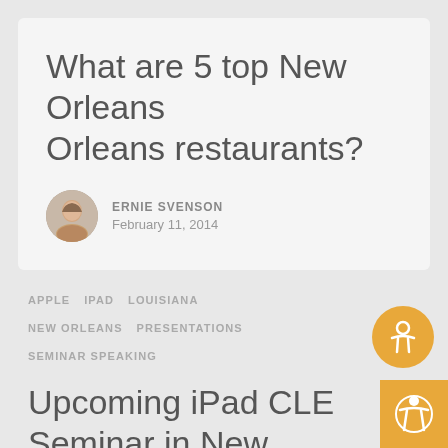What are 5 top New Orleans restaurants?
ERNIE SVENSON
February 11, 2014
APPLE   IPAD   LOUISIANA
NEW ORLEANS   PRESENTATIONS
SEMINAR SPEAKING
Upcoming iPad CLE Seminar in New Orleans